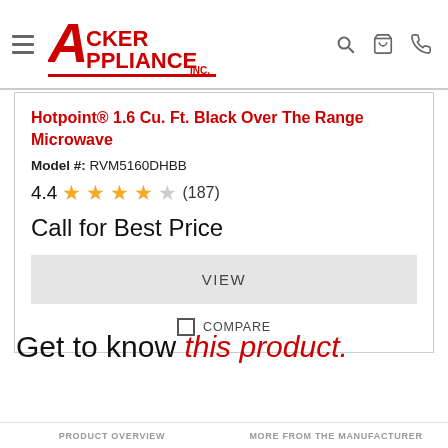[Figure (logo): Acker Appliance Inc. logo in red with hamburger menu, search, cart, and phone icons]
Hotpoint® 1.6 Cu. Ft. Black Over The Range Microwave
Model #: RVM5160DHBB
4.4 ★★★★☆ (187)
Call for Best Price
VIEW
COMPARE
Get to know this product.
PRODUCT OVERVIEW   MORE FROM THE MANUFACTURER